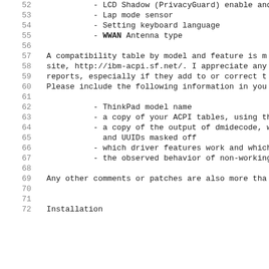52    - LCD Shadow (PrivacyGuard) enable and
53    - Lap mode sensor
54    - Setting keyboard language
55    - WWAN Antenna type
56
57  A compatibility table by model and feature is m
58  site, http://ibm-acpi.sf.net/. I appreciate any
59  reports, especially if they add to or correct t
60  Please include the following information in you
61
62    - ThinkPad model name
63    - a copy of your ACPI tables, using the
64    - a copy of the output of dmidecode, wi
65      and UUIDs masked off
66    - which driver features work and which
67    - the observed behavior of non-working
68
69  Any other comments or patches are also more tha
70
71
72  Installation